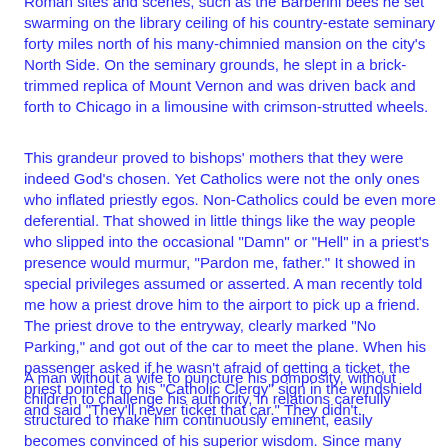Roman sites and scenes, such as the Barberini bees he set swarming on the library ceiling of his country-estate seminary forty miles north of his many-chimnied mansion on the city's North Side. On the seminary grounds, he slept in a brick-trimmed replica of Mount Vernon and was driven back and forth to Chicago in a limousine with crimson-strutted wheels.
This grandeur proved to bishops' mothers that they were indeed God's chosen. Yet Catholics were not the only ones who inflated priestly egos. Non-Catholics could be even more deferential. That showed in little things like the way people who slipped into the occasional "Damn" or "Hell" in a priest's presence would murmur, "Pardon me, father." It showed in special privileges assumed or asserted. A man recently told me how a priest drove him to the airport to pick up a friend. The priest drove to the entryway, clearly marked "No Parking," and got out of the car to meet the plane. When his passenger asked if he wasn't afraid of getting a ticket, the priest pointed to his "Catholic Clergy" sign in the windshield and said "They'll never ticket that car." They didn't.
A man without a wife to puncture his pomposity, without children to challenge his authority, in relations carefully structured to make him continuously eminent, easily becomes convinced of his superior wisdom. Since many priests have been only sketchily educated outside their formal subjects, they feel